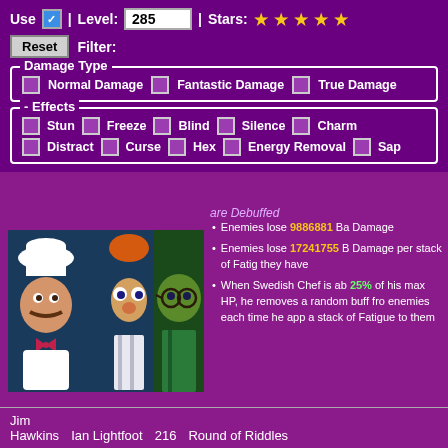Use [checked] | Level: 285 | Stars: ★ ★ ★ ★ ★
Reset  Filter:
Damage Type
Normal Damage  Fantastic Damage  True Damage
- Effects
Stun  Freeze  Blind  Silence  Charm
Distract  Curse  Hex  Energy Removal  Sap
Enemies with Fatigue are Debuffed
[Figure (photo): Character images of Swedish Chef, Beaker, and a green Muppet character side by side]
Enemies lose 9886881 Basic Damage
Enemies lose 17241755 Basic Damage per stack of Fatigue they have
When Swedish Chef is above 25% of his max HP, he removes a random buff from enemies each time he applies a stack of Fatigue to them
Jim Hawkins   Ian Lightfoot  216   Round of Riddles